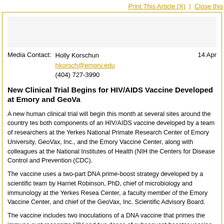Print This Article (X)  |  Close this
Media Contact:  Holly Korschun
hkorsch@emory.edu
(404) 727-3990
14 Apr
New Clinical Trial Begins for HIV/AIDS Vaccine Developed at Emory and GeoVa
A new human clinical trial will begin this month at several sites around the country testing both components of an HIV/AIDS vaccine developed by a team of researchers at the Yerkes National Primate Research Center of Emory University, GeoVax, Inc., and the Emory Vaccine Center, along with colleagues at the National Institutes of Health (NIH) and the Centers for Disease Control and Prevention (CDC).
The vaccine uses a two-part DNA prime-boost strategy developed by a scientific team led by Harriet Robinson, PhD, chief of microbiology and immunology at the Yerkes Research Center, a faculty member of the Emory Vaccine Center, and chief of the GeoVax, Inc. Scientific Advisory Board.
The vaccine includes two inoculations of a DNA vaccine that primes the immune system to recognize HIV and two doses of subsequent booster vaccine based on a recombinant poxvirus. The vaccine produces the three major proteins expressed by HIV and is expected to induce the immune system to respond to these distinguishing features of HIV should the actual virus appear. Neither component of the vaccine incorporates the complete intact HIV virus.
As reported in Nature Medicine in 1999 and in Science in 2001, a prototype of this us